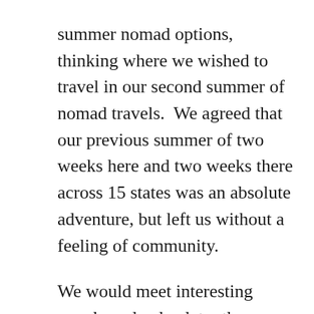summer nomad options, thinking where we wished to travel in our second summer of nomad travels.  We agreed that our previous summer of two weeks here and two weeks there across 15 states was an absolute adventure, but left us without a feeling of community.
We would meet interesting people and a day later they would leave or we would travel on.  We choose this summer to travel less often, stay longer in places with hopes of obtaining a deeper sense of the area's character, and experience the rich diverseness of the people who live there.  All that remained was to put that plan into action.  Within minutes we were